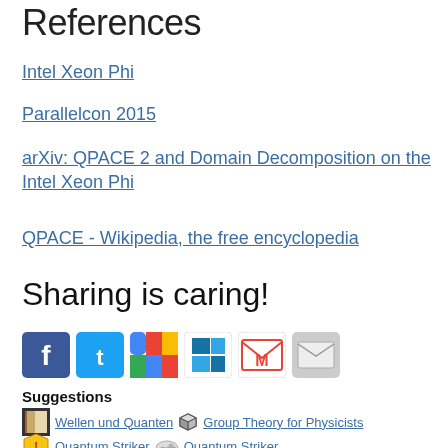References
Intel Xeon Phi
Parallelcon 2015
arXiv: QPACE 2 and Domain Decomposition on the Intel Xeon Phi
QPACE - Wikipedia, the free encyclopedia
Sharing is caring!
[Figure (other): Row of social sharing icons: Facebook, Twitter, Google+, WindowsLive/Outlook, Gmail, Email]
Suggestions
Wellen und Quanten   Group Theory for Physicists
Quantum Striker   Quantum Striker
Parallelcon 2015